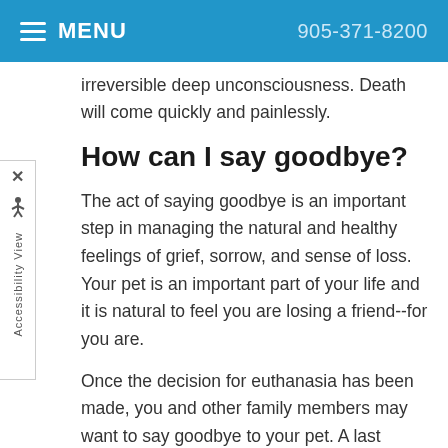MENU  905-371-8200
irreversible deep unconsciousness. Death will come quickly and painlessly.
How can I say goodbye?
The act of saying goodbye is an important step in managing the natural and healthy feelings of grief, sorrow, and sense of loss. Your pet is an important part of your life and it is natural to feel you are losing a friend--for you are.
Once the decision for euthanasia has been made, you and other family members may want to say goodbye to your pet. A last evening with your pet at home or a visit to the pet at the hospital may be appropriate. Family members who want to be alone